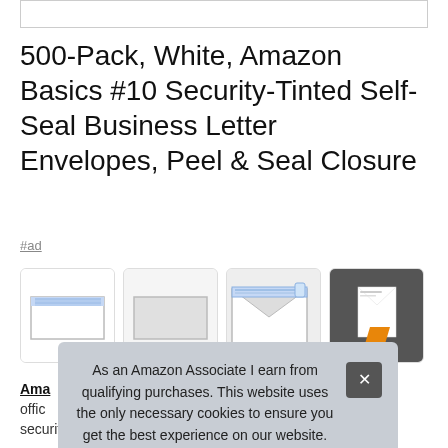[Figure (screenshot): Top search bar or input box, partially visible at top of page]
500-Pack, White, Amazon Basics #10 Security-Tinted Self-Seal Business Letter Envelopes, Peel & Seal Closure
#ad
[Figure (photo): Row of four product thumbnail images showing white envelopes: closed envelope with blue security strip, plain gray/white envelope, open envelope showing blue peel-and-seal strip, envelope with dark background showing brand packaging]
Amazon Basics office security tint for privacy; securely send checks, invoices, or
As an Amazon Associate I earn from qualifying purchases. This website uses the only necessary cookies to ensure you get the best experience on our website. More information